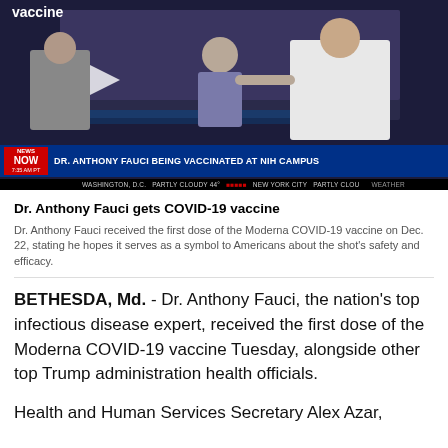[Figure (screenshot): News video screenshot showing Dr. Anthony Fauci being vaccinated at NIH Campus. News ticker reads: COVID-19 PANDEMIC / DR. ANTHONY FAUCI BEING VACCINATED AT NIH CAMPUS. NEWS NOW logo, 7:35 AM PT, Washington D.C. partly cloudy 44°, New York City partly cloudy.]
Dr. Anthony Fauci gets COVID-19 vaccine
Dr. Anthony Fauci received the first dose of the Moderna COVID-19 vaccine on Dec. 22, stating he hopes it serves as a symbol to Americans about the shot's safety and efficacy.
BETHESDA, Md. - Dr. Anthony Fauci, the nation's top infectious disease expert, received the first dose of the Moderna COVID-19 vaccine Tuesday, alongside other top Trump administration health officials.
Health and Human Services Secretary Alex Azar,